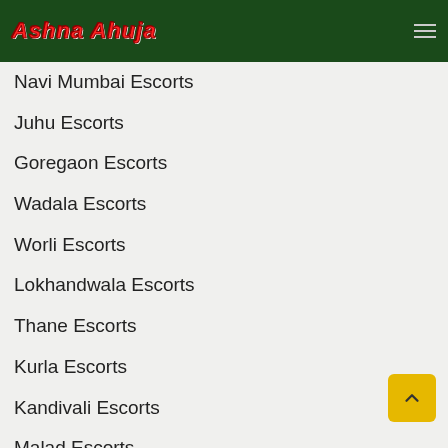Ashna Ahuja
Navi Mumbai Escorts
Juhu Escorts
Goregaon Escorts
Wadala Escorts
Worli Escorts
Lokhandwala Escorts
Thane Escorts
Kurla Escorts
Kandivali Escorts
Malad Escorts
Colaba Escorts
Bandra Escorts